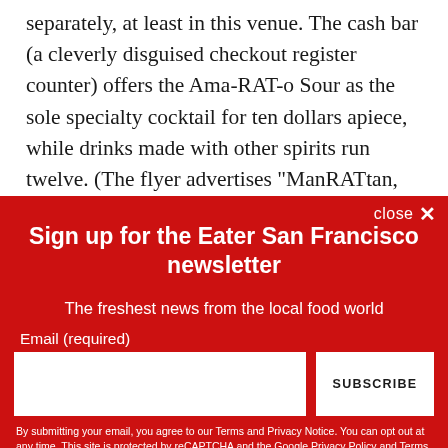separately, at least in this venue. The cash bar (a cleverly disguised checkout register counter) offers the Ama-RAT-o Sour as the sole specialty cocktail for ten dollars apiece, while drinks made with other spirits run twelve. (The flyer advertises “ManRATtan, anyone?” though mixers seem extremely limited.) Beer for $6 is the best pricing, but there is really no reason to stand around the gift shop drinking
Sign up for the Eater San Francisco newsletter
The freshest news from the local food world
Email (required)
SUBSCRIBE
By submitting your email, you agree to our Terms and Privacy Notice. You can opt out at any time. This site is protected by reCAPTCHA and the Google Privacy Policy and Terms of Service apply.